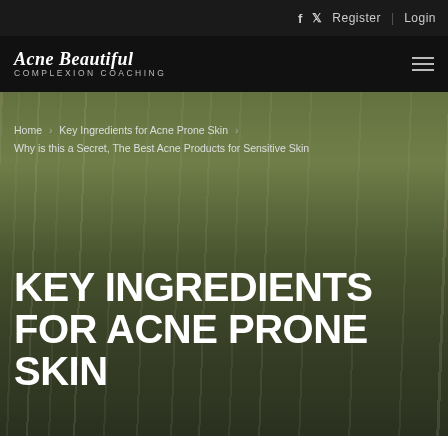f  Twitter  Register | Login
Acne Beautiful Complexion Coaching
Home > Key Ingredients for Acne Prone Skin > Why is this a Secret, The Best Acne Products for Sensitive Skin
KEY INGREDIENTS FOR ACNE PRONE SKIN